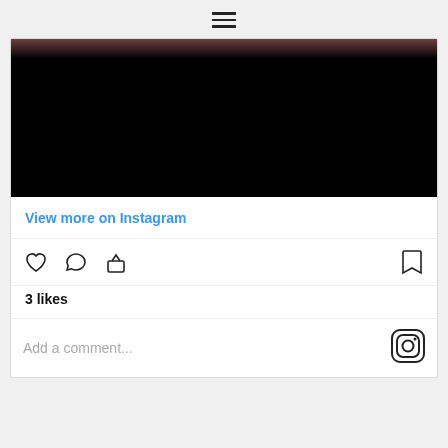[Figure (other): Hamburger menu icon (three horizontal lines)]
[Figure (photo): Dark/black photo area, partially showing a dark image at top]
View more on Instagram
[Figure (other): Instagram action icons row: heart (like), comment bubble, share/upload arrow, and bookmark icon]
3 likes
Add a comment...
[Figure (logo): Instagram logo icon (camera outline with rounded square)]